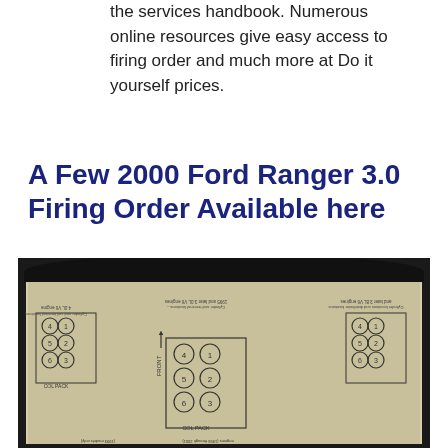the services handbook. Numerous online resources give easy access to firing order and much more at Do it yourself prices.
A Few 2000 Ford Ranger 3.0 Firing Order Available here
[Figure (engineering-diagram): Photograph of an open automotive service manual showing cylinder and terminal location diagrams for Ford Ranger 3.0 and 3.8 V6 engines, including coil pack layouts and firing order diagrams. The page is upside down in the photo, showing numbered cylinder diagrams with FRONT arrow indicators and COL PACK labels.]